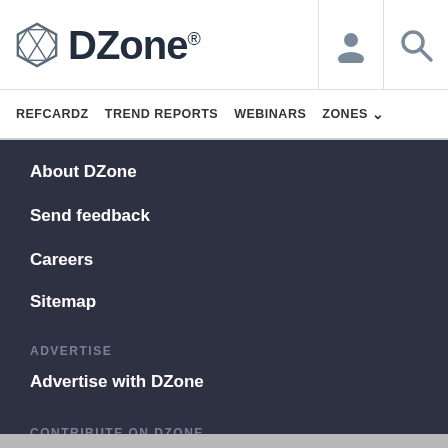DZone
REFCARDZ
TREND REPORTS
WEBINARS
ZONES
About DZone
Send feedback
Careers
Sitemap
ADVERTISE
Advertise with DZone
CONTRIBUTE ON DZONE
Article Submission Guidelines
M…
Be…
Vi…
[Figure (screenshot): Gatling advertisement overlay with logo, tagline 'Test. Succeed. Iterate.' and text 'Is your app ready to scale performance issues Start']